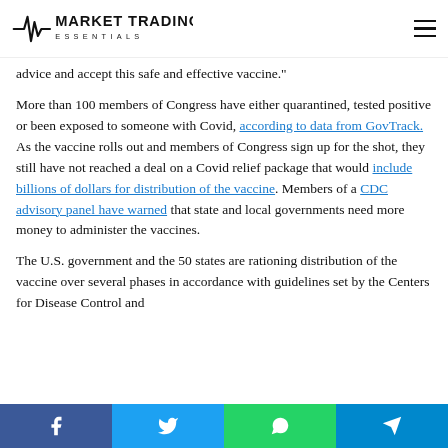Market Trading Essentials
advice and accept this safe and effective vaccine.
More than 100 members of Congress have either quarantined, tested positive or been exposed to someone with Covid, according to data from GovTrack. As the vaccine rolls out and members of Congress sign up for the shot, they still have not reached a deal on a Covid relief package that would include billions of dollars for distribution of the vaccine. Members of a CDC advisory panel have warned that state and local governments need more money to administer the vaccines.
The U.S. government and the 50 states are rationing distribution of the vaccine over several phases in accordance with guidelines set by the Centers for Disease Control and
Facebook Twitter WhatsApp Telegram